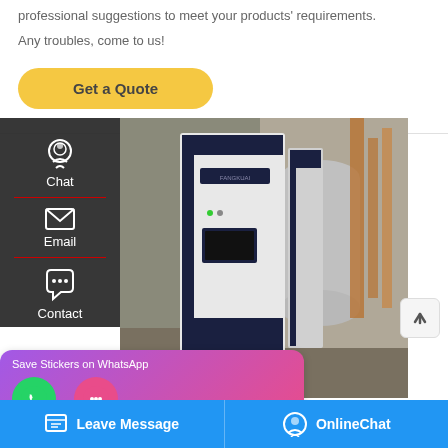professional suggestions to meet your products' requirements.
Any troubles, come to us!
Get a Quote
[Figure (screenshot): Industrial condensing boiler unit in a machinery room with pipes and equipment]
densing Boiler
Chat
Email
Contact
Save Stickers on WhatsApp
Leave Message
OnlineChat